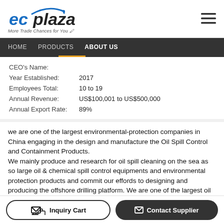[Figure (logo): ECplaza logo with arc above text and tagline 'More Trade Chances for You']
HOME   PRODUCTS   ABOUT US
CEO's Name:
Year Established:   2017
Employees Total:   10 to 19
Annual Revenue:   US$100,001 to US$500,000
Annual Export Rate:   89%
we are one of the largest environmental-protection companies in China engaging in the design and manufacture the Oil Spill Control and Containment Products. We mainly produce and research for oil spill cleaning on the sea as so large oil & chemical spill control equipments and environmental protection products and commit our effords to designing and producing the offshore drilling platform. We are one of the largest oil
Inquiry Cart   Contact Supplier